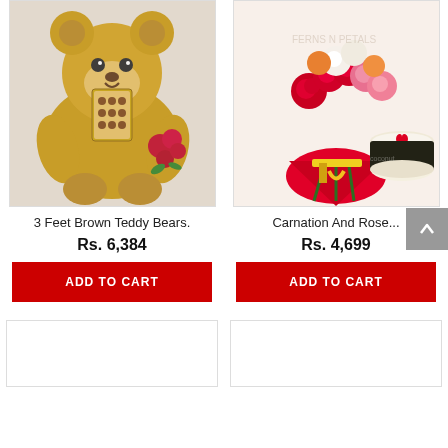[Figure (photo): Teddy bear product photo: large brown teddy bear holding Ferrero Rocher chocolates box with red roses]
3 Feet Brown Teddy Bears.
Rs. 6,384
ADD TO CART
[Figure (photo): Flower bouquet product photo: mixed red, pink, white roses bouquet with a black forest cake topped with red heart]
Carnation And Rose...
Rs. 4,699
ADD TO CART
[Figure (photo): Empty/loading product card bottom left]
[Figure (photo): Empty/loading product card bottom right]